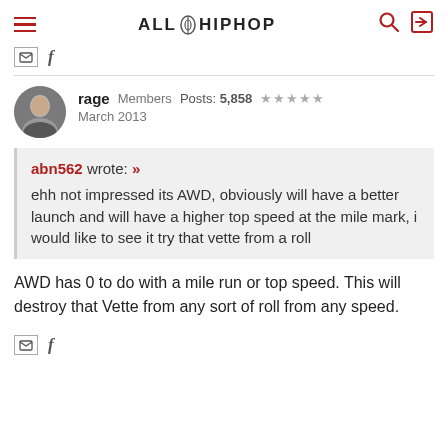ALL HIPHOP
rage  Members  Posts: 5,858  ★★★★★
March 2013
abn562 wrote: »
ehh not impressed its AWD, obviously will have a better launch and will have a higher top speed at the mile mark, i would like to see it try that vette from a roll
AWD has 0 to do with a mile run or top speed. This will destroy that Vette from any sort of roll from any speed.